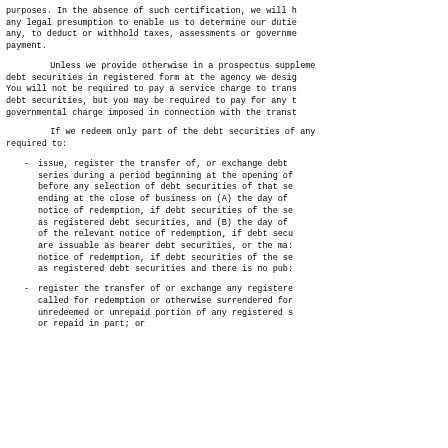purposes. In the absence of such certification, we will have any legal presumption to enable us to determine our duties, if any, to deduct or withhold taxes, assessments or governmental payment.
Unless we provide otherwise in a prospectus supplement, debt securities in registered form at the agency we designate. You will not be required to pay a service charge to transfer debt securities, but you may be required to pay for any governmental charge imposed in connection with the transfer.
If we redeem only part of the debt securities of any series, we will be required to:
issue, register the transfer of, or exchange debt securities of that series during a period beginning at the opening of business 15 days before any selection of debt securities of that series to be redeemed and ending at the close of business on (A) the day of mailing of the relevant notice of redemption, if debt securities of the series are issuable as registered debt securities, and (B) the day of the first publication of the relevant notice of redemption, if debt securities of the series are issuable as bearer debt securities, or the mailing of the relevant notice of redemption, if debt securities of the series are issuable as registered debt securities and there is no public;
register the transfer of or exchange any registered debt security called for redemption or otherwise surrendered for redemption, the unredeemed or unrepaid portion of any registered security redeemed or repaid in part; or